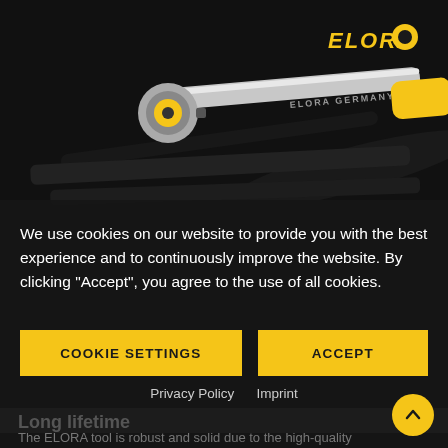[Figure (photo): ELORA branded ratchet wrench tool on dark background with yellow handle and logo]
We use cookies on our website to provide you with the best experience and to continuously improve the website. By clicking "Accept", you agree to the use of all cookies.
COOKIE SETTINGS
ACCEPT
Privacy Policy   Imprint
Long lifetime
The ELORA tool is robust and solid due to the high-quality processing, which ensures low abrasion and wear. Because of this and the excellent corrosion and surface protection, we guarantee a long service life.